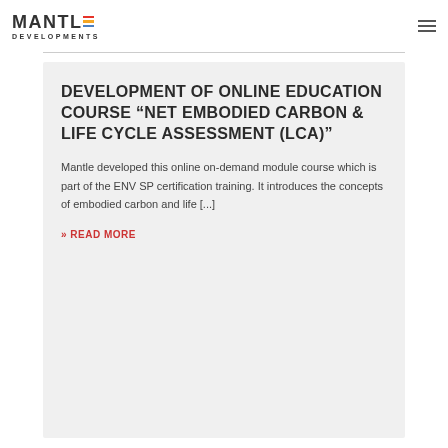MANTLE DEVELOPMENTS
DEVELOPMENT OF ONLINE EDUCATION COURSE “NET EMBODIED CARBON & LIFE CYCLE ASSESSMENT (LCA)”
Mantle developed this online on-demand module course which is part of the ENV SP certification training. It introduces the concepts of embodied carbon and life [...]
» READ MORE